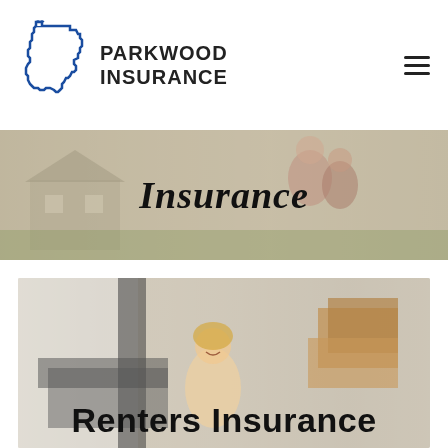[Figure (logo): Parkwood Insurance logo with Texas state outline in blue and bold text reading PARKWOOD INSURANCE]
[Figure (photo): Banner image with people outdoors near a house, overlaid with bold italic text 'Insurance']
[Figure (photo): Banner image with a person moving boxes indoors, overlaid with bold text 'Renters Insurance']